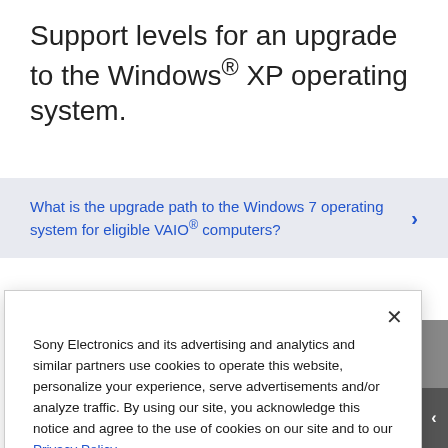Support levels for an upgrade to the Windows® XP operating system.
What is the upgrade path to the Windows 7 operating system for eligible VAIO® computers?
Sony Electronics and its advertising and analytics and similar partners use cookies to operate this website, personalize your experience, serve advertisements and/or analyze traffic. By using our site, you acknowledge this notice and agree to the use of cookies on our site and to our Privacy Policy.
Manage Cookies